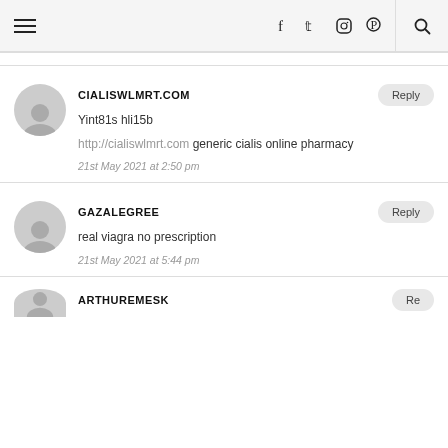Navigation bar with hamburger menu, social icons (f, twitter, instagram, pinterest), and search
CIALISWLMRT.COM
Yint81s hli15b
http://cialiswlmrt.com generic cialis online pharmacy
21st May 2021 at 2:50 pm
GAZALEGREE
real viagra no prescription
21st May 2021 at 5:44 pm
ARTHUREMESK